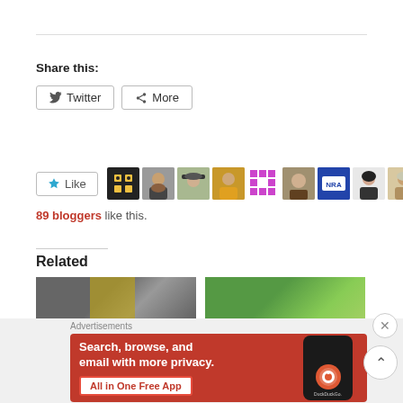Share this:
Twitter | More
[Figure (other): Like button with star icon and row of 9 blogger avatar thumbnails]
89 bloggers like this.
Related
[Figure (photo): Two related article thumbnail images side by side]
Advertisements
[Figure (other): DuckDuckGo advertisement banner: Search, browse, and email with more privacy. All in One Free App]